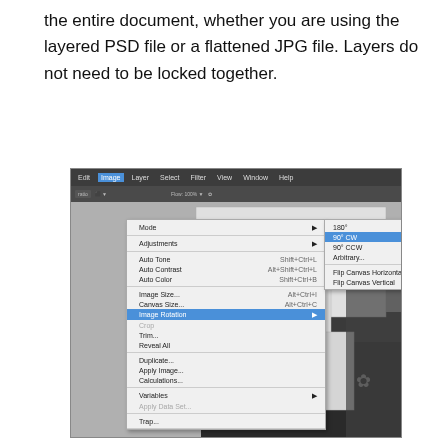the entire document, whether you are using the layered PSD file or a flattened JPG file. Layers do not need to be locked together.
[Figure (screenshot): Screenshot of Adobe Photoshop showing the Image menu open with Image Rotation submenu expanded. The submenu shows options: 180°, 90° CW (highlighted in blue), 90° CCW, Arbitrary..., Flip Canvas Horizontal, Flip Canvas Vertical. The main Image menu shows: Mode, Adjustments, Auto Tone, Auto Contrast, Auto Color, Image Size, Canvas Size, Image Rotation (highlighted), Crop, Trim, Reveal All, Duplicate, Apply Image, Calculations, Variables, Apply Data Set, Trap. Behind the menus is a document with placeholder lorem ipsum text and grayscale design elements.]